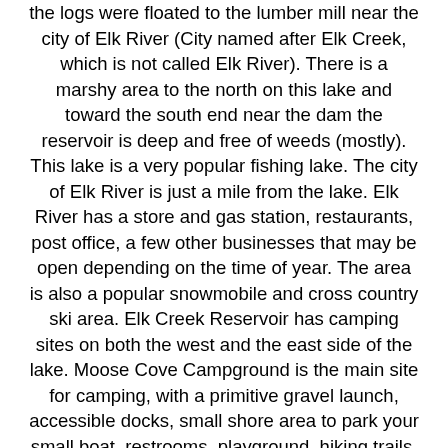the logs were floated to the lumber mill near the city of Elk River (City named after Elk Creek, which is not called Elk River). There is a marshy area to the north on this lake and toward the south end near the dam the reservoir is deep and free of weeds (mostly). This lake is a very popular fishing lake. The city of Elk River is just a mile from the lake. Elk River has a store and gas station, restaurants, post office, a few other businesses that may be open depending on the time of year. The area is also a popular snowmobile and cross country ski area. Elk Creek Reservoir has camping sites on both the west and the east side of the lake. Moose Cove Campground is the main site for camping, with a primitive gravel launch, accessible docks, small shore area to park your small boat, restrooms, playground, hiking trails, and running water. There is a gravel road and hiking trails directly from the campground to the popular Elk Creek Falls, which is a series of water falls that is a must see. The first of the falls drops about 30 feet